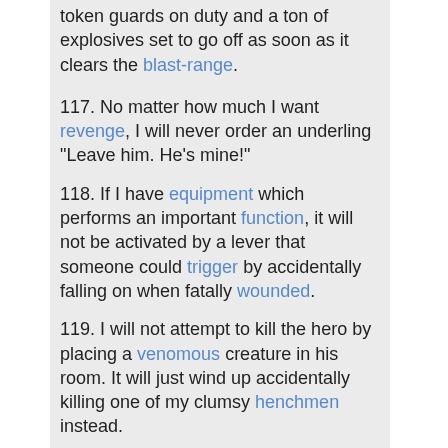token guards on duty and a ton of explosives set to go off as soon as it clears the blast-range.
117. No matter how much I want revenge, I will never order an underling "Leave him. He's mine!"
118. If I have equipment which performs an important function, it will not be activated by a lever that someone could trigger by accidentally falling on when fatally wounded.
119. I will not attempt to kill the hero by placing a venomous creature in his room. It will just wind up accidentally killing one of my clumsy henchmen instead.